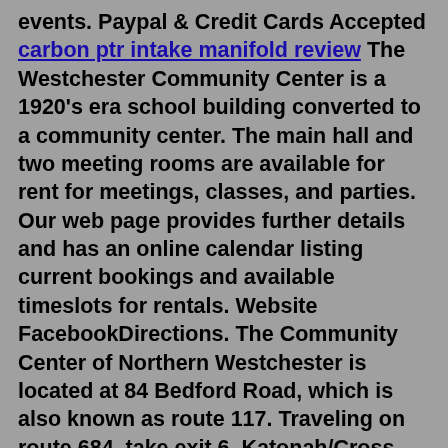events. Paypal & Credit Cards Accepted carbon ptr intake manifold review The Westchester Community Center is a 1920's era school building converted to a community center. The main hall and two meeting rooms are available for rent for meetings, classes, and parties. Our web page provides further details and has an online calendar listing current bookings and available timeslots for rentals. Website FacebookDirections. The Community Center of Northern Westchester is located at 84 Bedford Road, which is also known as route 117. Traveling on route 684, take exit 6, Katonah/Cross River. Turn onto route 35 west, towards Katonah. Follow the sign for Katonah and make a left at the light onto Woodsbridge Road. Woodsbridge Road turns into Bedford Road. The Westchester Community Center is a 1920's era school building converted to a community center. The main hall and two meeting rooms are available for rent for meetings, classes, and parties. Our web page provides further details and